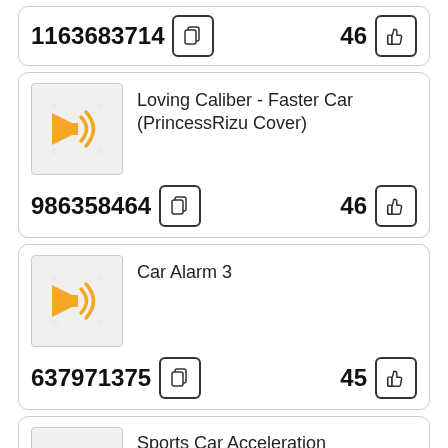1163683714  46
[Figure (other): Sound/audio icon thumbnail for Loving Caliber - Faster Car (PrincessRizu Cover)]
Loving Caliber - Faster Car (PrincessRizu Cover)
986358464  46
[Figure (other): Sound/audio icon thumbnail for Car Alarm 3]
Car Alarm 3
637971375  45
[Figure (other): Sound/audio icon thumbnail for Sports Car Acceleration]
Sports Car Acceleration